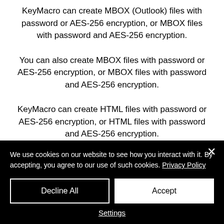KeyMacro can create MBOX (Outlook) files with password or AES-256 encryption, or MBOX files with password and AES-256 encryption. You can also create MBOX files with password or AES-256 encryption, or MBOX files with password and AES-256 encryption. KeyMacro can create HTML files with password or AES-256 encryption, or HTML files with password and AES-256 encryption. You can also create HTML files with...
We use cookies on our website to see how you interact with it. By accepting, you agree to our use of such cookies. Privacy Policy
Decline All
Accept
Settings